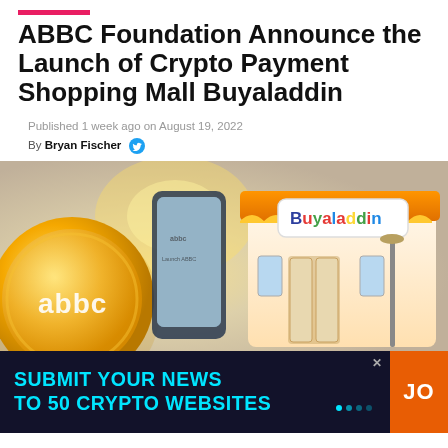ABBC Foundation Announce the Launch of Crypto Payment Shopping Mall Buyaladdin
Published 1 week ago on August 19, 2022
By Bryan Fischer
[Figure (illustration): Promotional image showing ABBC gold coin on the left, a smartphone in the center, and a Buyaladdin-branded shopping mall kiosk/storefront on the right, with warm golden background lighting.]
[Figure (infographic): Dark navy advertisement banner reading 'SUBMIT YOUR NEWS TO 50 CRYPTO WEBSITES' in cyan bold text, with an orange 'JO' button on the right side and animated dots.]